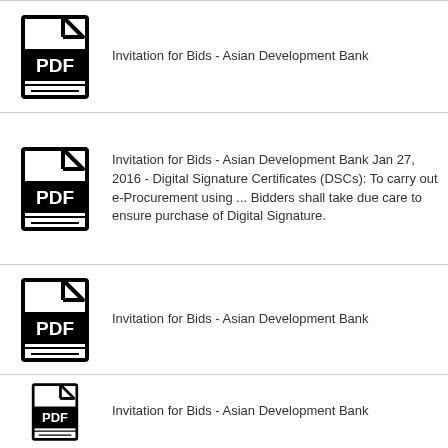Invitation for Bids - Asian Development Bank
Invitation for Bids - Asian Development Bank Jan 27, 2016 - Digital Signature Certificates (DSCs): To carry out e-Procurement using ... Bidders shall take due care to ensure purchase of Digital Signature.
Invitation for Bids - Asian Development Bank
Invitation for Bids - Asian Development Bank